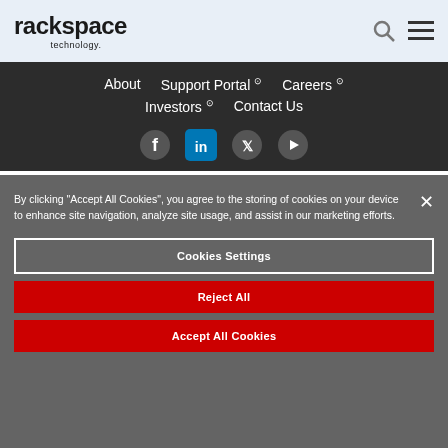[Figure (logo): Rackspace Technology logo — bold black wordmark with 'rackspace' and 'technology.' below]
[Figure (other): Search icon (magnifying glass) and hamburger menu icon in dark gray]
About    Support Portal ↗    Careers ↗    Investors ↗    Contact Us
[Figure (other): Social media icons: Facebook, LinkedIn, Twitter/X, YouTube — circular buttons]
By clicking "Accept All Cookies", you agree to the storing of cookies on your device to enhance site navigation, analyze site usage, and assist in our marketing efforts.
Cookies Settings
Reject All
Accept All Cookies